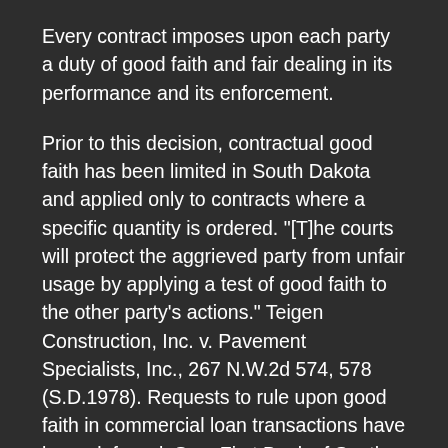Every contract imposes upon each party a duty of good faith and fair dealing in its performance and its enforcement.
Prior to this decision, contractual good faith has been limited in South Dakota and applied only to contracts where a specific quantity is ordered. "[T]he courts will protect the aggrieved party from unfair usage by applying a test of good faith to the other party's actions." Teigen Construction, Inc. v. Pavement Specialists, Inc., 267 N.W.2d 574, 578 (S.D.1978). Requests to rule upon good faith in commercial loan transactions have been deferred. See, First Bank of South Dakota v. Voneye, 425 N.W.2d 630, 634 fn. 4 (S.D.1988). C.f., Olson v. Tri-County State Bank, 456 N.W.2d 132 (S.D.1990) (a bank is not liable for bad faith refusal to extend credit to the maker of a note when the